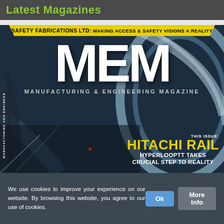Latest Magazines
[Figure (illustration): Cover of Manufacturing & Engineering Magazine (MEM) showing a hyperloop tube interior background. A yellow diagonal banner at the top reads 'SAFETY FABRICATIONS LTD: MAKING ACCESS & SAFETY VISIONS A REALITY'. Large white MEM letters dominate the center. Text reads 'MANUFACTURING & ENGINEERING MAGAZINE'. Bottom right shows 'THIS ISSUE: HITACHI RAIL HYPERLOOPTT TAKES CRUCIAL STEP TO REALITY'. Vertical side text reads 'MANUFACTURING AND ENGINEER'.]
We use cookies to improve your experience on our website. By browsing this website, you agree to our use of cookies.